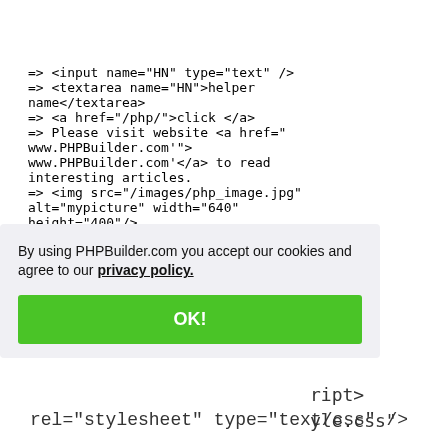=> <input name="HN" type="text" />
=> <textarea name="HN">helper name</textarea>
=> <a href="/php/">click </a>
=> Please visit website <a href="www.PHPBuilder.com'">
www.PHPBuilder.com'</a> to read interesting articles.
=> <img src="/images/php_image.jpg" alt="mypicture" width="640" height="400"/>
t"
...ript>
...yle.css"
By using PHPBuilder.com you accept our cookies and agree to our privacy policy.
OK!
rel="stylesheet" type="text/css" />